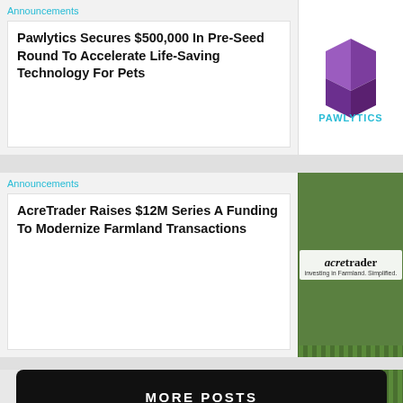Announcements
Pawlytics Secures $500,000 In Pre-Seed Round To Accelerate Life-Saving Technology For Pets
[Figure (logo): Pawlytics logo — purple cube icon above teal PAWLYTICS text]
Announcements
AcreTrader Raises $12M Series A Funding To Modernize Farmland Transactions
[Figure (logo): AcreTrader logo on green corrugated metal background — acretrader text with tagline 'investing in Farmland. Simplified.']
MORE POSTS
CONTACT US
Email:    @MugNewsOfficial
hello@mug.news